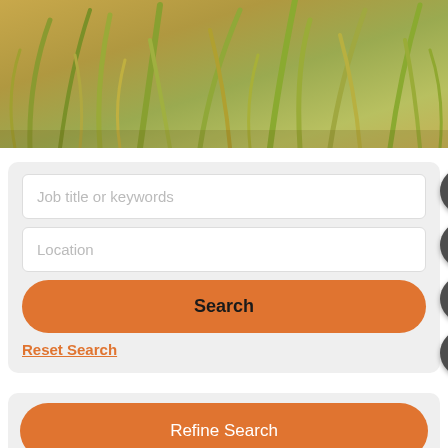[Figure (photo): Golden grass blades background hero image, warm amber/olive tones]
Job title or keywords
Location
Search
Reset Search
Refine Search